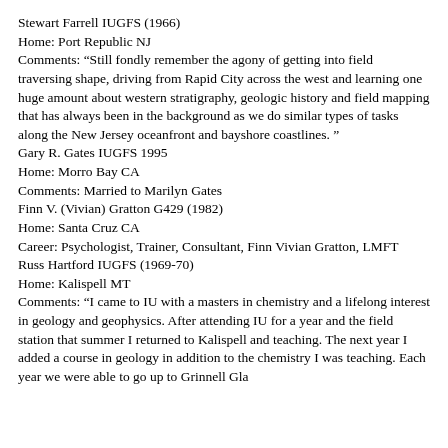Stewart Farrell IUGFS (1966)
Home: Port Republic NJ
Comments: “Still fondly remember the agony of getting into field traversing shape, driving from Rapid City across the west and learning one huge amount about western stratigraphy, geologic history and field mapping that has always been in the background as we do similar types of tasks along the New Jersey oceanfront and bayshore coastlines. ”
Gary R. Gates IUGFS 1995
Home: Morro Bay CA
Comments: Married to Marilyn Gates
Finn V. (Vivian) Gratton G429 (1982)
Home: Santa Cruz CA
Career: Psychologist, Trainer, Consultant, Finn Vivian Gratton, LMFT
Russ Hartford IUGFS (1969-70)
Home: Kalispell MT
Comments: “I came to IU with a masters in chemistry and a lifelong interest in geology and geophysics. After attending IU for a year and the field station that summer I returned to Kalispell and teaching. The next year I added a course in geology in addition to the chemistry I was teaching. Each year we were able to go up to Grinnell Gla...